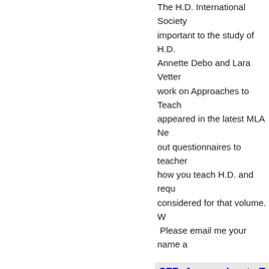The H.D. International Society important to the study of H.D. Annette Debo and Lara Vetter work on Approaches to Teach appeared in the latest MLA Ne out questionnaires to teacher how you teach H.D. and requ considered for that volume. W Please email me your name a
CFP: Approaches to T
updated: Saturday, March 1
Vetter, Lara
The H.D. International Society important to the study of H.D. Annette Debo and Lara Vetter work on Approaches to Teach